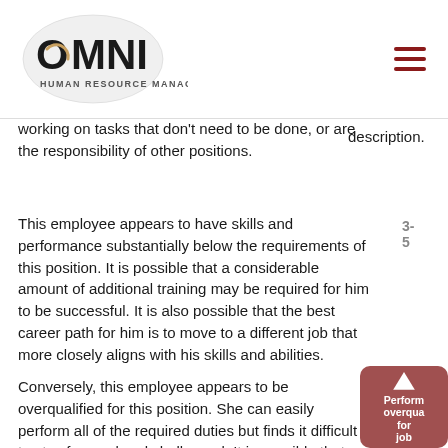[Figure (logo): OMNI Human Resource Management logo - circular logo with OMNI text and subtitle 'HUMAN RESOURCE MANAGEMENT']
working on tasks that don't need to be done, or are the responsibility of other positions.
description.
This employee appears to have skills and performance substantially below the requirements of this position. It is possible that a considerable amount of additional training may be required for him to be successful. It is also possible that the best career path for him is to move to a different job that more closely aligns with his skills and abilities.
3-5
Conversely, this employee appears to be overqualified for this position. She can easily perform all of the required duties but finds it difficult to stay focused and challenged. It is possible that this employee can be encouraged to
[Figure (screenshot): Overqualified/Performance overlay box with upward arrow and text 'Perform overqua for job']